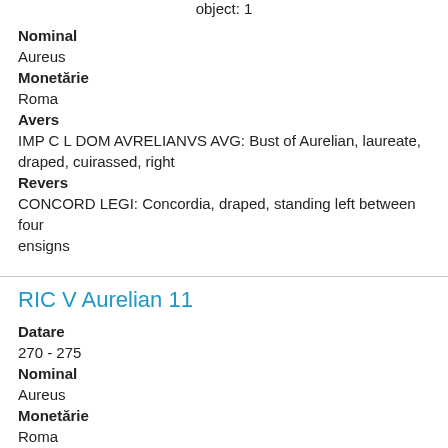object: 1
Nominal
Aureus
Monetărie
Roma
Avers
IMP C L DOM AVRELIANVS AVG: Bust of Aurelian, laureate, draped, cuirassed, right
Revers
CONCORD LEGI: Concordia, draped, standing left between four ensigns
RIC V Aurelian 11
Datare
270 - 275
Nominal
Aureus
Monetărie
Roma
Avers
IMP C L DOM AVRELIANVS AVG: Bust of Aurelian, laureate,